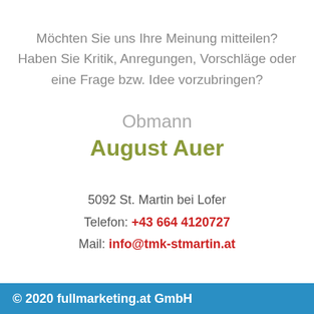Möchten Sie uns Ihre Meinung mitteilen? Haben Sie Kritik, Anregungen, Vorschläge oder eine Frage bzw. Idee vorzubringen?
Obmann
August Auer
5092 St. Martin bei Lofer
Telefon: +43 664 4120727
Mail: info@tmk-stmartin.at
© 2020 fullmarketing.at GmbH